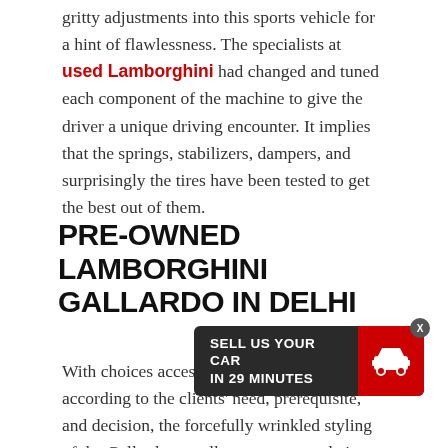gritty adjustments into this sports vehicle for a hint of flawlessness. The specialists at used Lamborghini had changed and tuned each component of the machine to give the driver a unique driving encounter. It implies that the springs, stabilizers, dampers, and surprisingly the tires have been tested to get the best out of them.
PRE-OWNED LAMBORGHINI GALLARDO IN DELHI
With choices accessible to tailor the vehicle according to the clients' need, prerequisite, and decision, the forcefully wrinkled styling of the Gallardo actually can stop people in their tracks and is ideal for the individuals who need to be both... simultaneously. Compound wh... tastefully with Cordelia amalgams working encompassed by Pirelli P Zero Corsa Tires. Lamborghini
[Figure (infographic): Dark banner advertisement reading 'SELL US YOUR CAR IN 29 MINUTES' with red car icon on the right and an X close button]